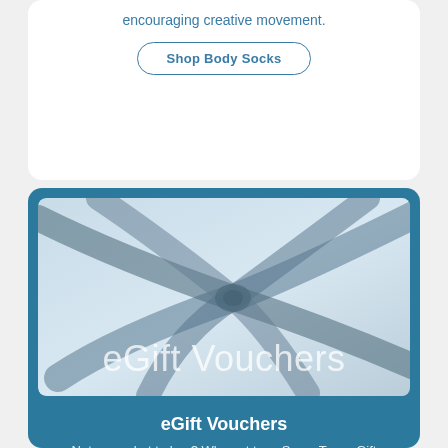encouraging creative movement.
Shop Body Socks
[Figure (photo): Gift voucher image showing ribbon/bow on light blue background with 'eGift Vouchers' text overlay]
eGift Vouchers
Not sure what to buy? Why not try a SenseToys eGift Voucher and let the recipient choose what they'd like to buy themselves. Vouchers from £10 - £100.